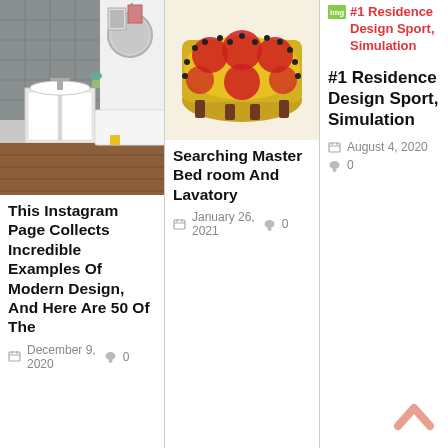[Figure (photo): Bathroom interior with grey tiles, round mirror, and pedestal sink]
This Instagram Page Collects Incredible Examples Of Modern Design, And Here Are 50 Of The
December 9, 2020  0
[Figure (photo): Colorful patterned ottoman/footstool with red and yellow design]
Searching Master Bed room And Lavatory
January 26, 2021  0
#1 Residence Design Sport, Simulation
#1 Residence Design Sport, Simulation
August 4, 2020  0